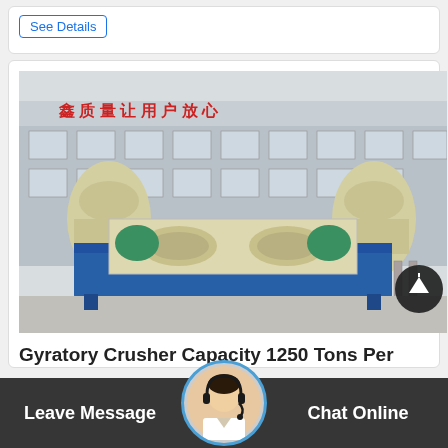See Details
[Figure (photo): Industrial gyratory crusher machinery and cone crushers lined up in a factory yard with a building displaying red Chinese characters in the background. Machinery is cream/beige colored with blue bases.]
Gyratory Crusher Capacity 1250 Tons Per
Leave Message
Chat Online